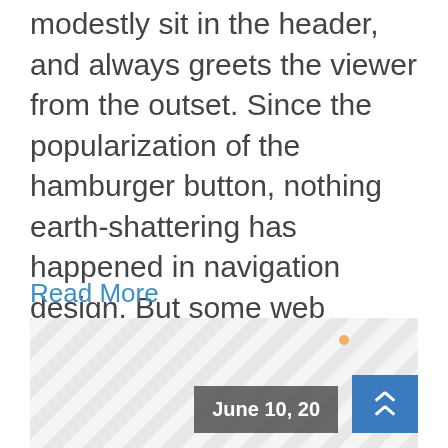modestly sit in the header, and always greets the viewer from the outset. Since the popularization of the hamburger button, nothing earth-shattering has happened in navigation design. But some web designers have dared to change that by using the unconventional yet elegant sticky [...]
Read More
[Figure (other): Diagonal striped placeholder image with a dark grey date badge showing 'June 10, 20' and a blue button with double up-chevron arrows]